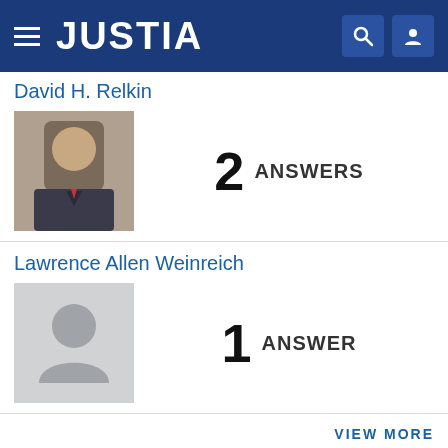JUSTIA
David H. Relkin — 2 ANSWERS
Lawrence Allen Weinreich — 1 ANSWER
VIEW MORE
Find a Lawyer
Business Law